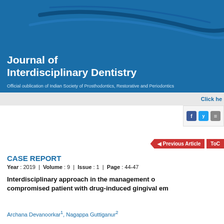[Figure (logo): Journal of Interdisciplinary Dentistry header banner with blue background, swoosh curve decorations, journal title in white bold text, and subtitle text]
Journal of Interdisciplinary Dentistry
Official publication of Indian Society of Prosthodontics, Restorative and Periodontics
CASE REPORT
Year : 2019 | Volume : 9 | Issue : 1 | Page : 44-47
Interdisciplinary approach in the management of a medically compromised patient with drug-induced gingival enlargement
Archana Devanoorkar1, Nagappa Guttiganur2